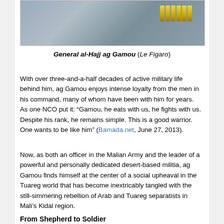[Figure (photo): Partial photo of military camouflage uniform with ammunition rounds visible, cropped at top of page]
General al-Hajj ag Gamou (Le Figaro)
With over three-and-a-half decades of active military life behind him, ag Gamou enjoys intense loyalty from the men in his command, many of whom have been with him for years. As one NCO put it: “Gameou, he eats with us, he fights with us. Despite his rank, he remains simple. This is a good warrior. One wants to be like him” (Bamada.net, June 27, 2013).
Now, as both an officer in the Malian Army and the leader of a powerful and personally dedicated desert-based militia, ag Gamou finds himself at the center of a social upheaval in the Tuareg world that has become inextricably tangled with the still-simmering rebellion of Arab and Tuareg separatists in Mali’s Kidal region.
From Shepherd to Soldier